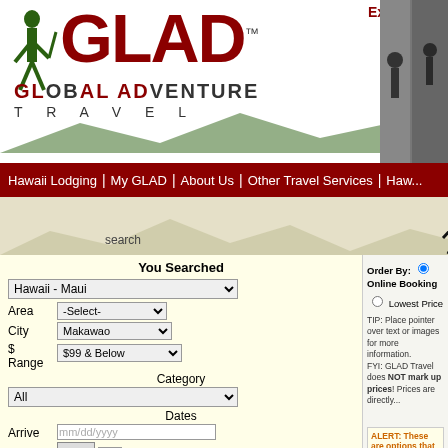[Figure (screenshot): GLAD Global Adventure Travel website header with logo, hiker silhouette, mountain background, and outdoor activity photos including kayaking and surfing]
Experience qu...
Hawaii Lodging | My GLAD | About Us | Other Travel Services | Hawa...
search   select   review
Order By:  Online Booking  Lowest Price
TIP: Place pointer over text or images for more information.
FYI: GLAD Travel does NOT mark up prices! Prices are directly...
You Searched
Hawaii - Maui
Area  -Select-
City  Makawao
$ Range  $99 & Below
Category  All
Dates
Arrive  mm/dd/yyyy
# Nights  n/a
Adults  1
Children  0
Only online booking options
Only options with pictures
ALERT: These are options that do NOT offer online booking o...
GLAD Travel is displaying them as a service to you in an effort to... have provided a phone number so that you can contact these acc... and reservations. If you find this information useful, please consid... all and up-to-date.
Cabin/Cottage    Add to W...
Banyan Tree House Hawaii - Maui»Makawao»Upc...
Write a review!
| Extra Charges | Security/Damage Deposit |  |
| --- | --- | --- |
| ♥ |  |  |